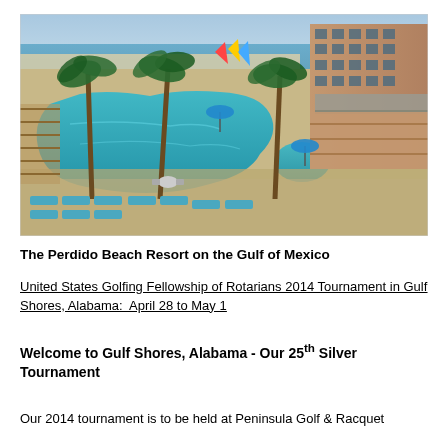[Figure (photo): Aerial view of Perdido Beach Resort showing a large curvy outdoor pool surrounded by palm trees, lounge chairs with blue cushions, patio tables, the beach and Gulf of Mexico in the background, and a multi-story hotel building on the right.]
The Perdido Beach Resort on the Gulf of Mexico
United States Golfing Fellowship of Rotarians 2014 Tournament in Gulf Shores, Alabama:  April 28 to May 1
Welcome to Gulf Shores, Alabama - Our 25th Silver Tournament
Our 2014 tournament is to be held at Peninsula Golf & Racquet